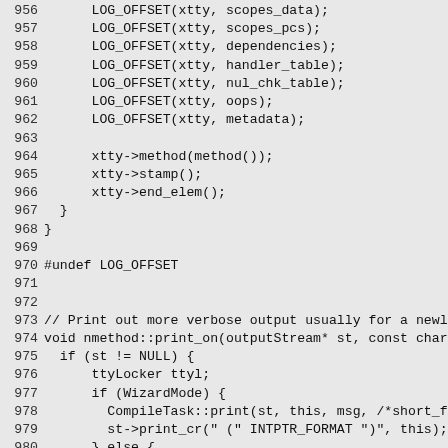[Figure (screenshot): Source code listing showing C++ code lines 956-985, displaying nmethod logging and print_on function implementations on a light gray background with monospace font.]